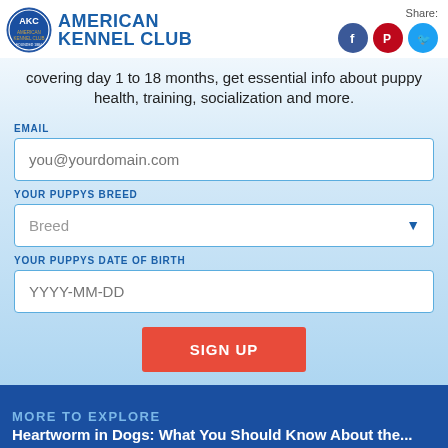[Figure (logo): American Kennel Club logo with AKC seal and text]
covering day 1 to 18 months, get essential info about puppy health, training, socialization and more.
EMAIL
you@yourdomain.com
YOUR PUPPYS BREED
Breed
YOUR PUPPYS DATE OF BIRTH
YYYY-MM-DD
SIGN UP
For all AKC Newsletters, click here
AKC Privacy Po...
MORE TO EXPLORE
Heartworm in Dogs: What You Should Know About the...